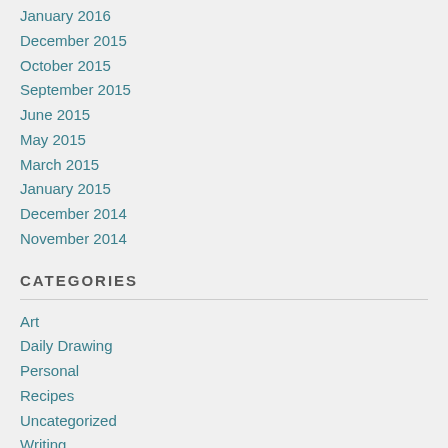January 2016
December 2015
October 2015
September 2015
June 2015
May 2015
March 2015
January 2015
December 2014
November 2014
CATEGORIES
Art
Daily Drawing
Personal
Recipes
Uncategorized
Writing
TAGS